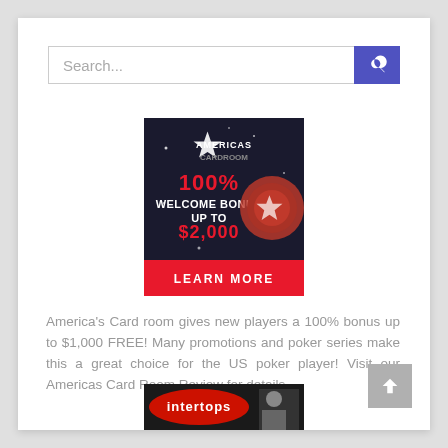[Figure (screenshot): Search bar with text 'Search...' and blue search button with magnifying glass icon]
[Figure (infographic): Americas Card Room advertisement banner showing '100% WELCOME BONUS UP TO $2,000' with poker chips and 'LEARN MORE' button on red background]
America's Card room gives new players a 100% bonus up to $1,000 FREE! Many promotions and poker series make this a great choice for the US poker player! Visit our Americas Card Room Review for details.
[Figure (infographic): Intertops banner advertisement partially visible at bottom of page]